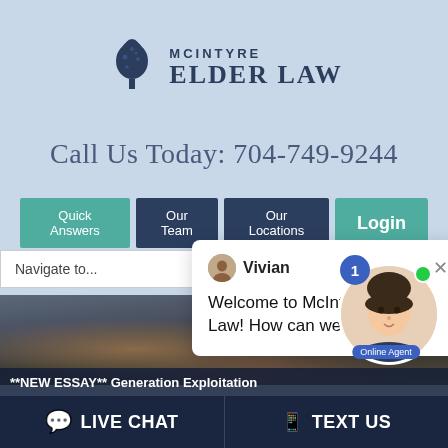[Figure (logo): McIntyre Elder Law logo — tree icon with firm name]
Call Us Today: 704-749-9244
Quick Answers | Our Team | Our Locations | Login
Navigate to...
Vivian
Welcome to McIntyre Elder Law! How can we help you?
[Figure (photo): Background photo of legal books and gavel]
[Figure (photo): Online chat agent avatar with badge showing 1 and green online dot, labeled Online Agent]
**NEW ESSAY** Generation Exploitation
LIVE CHAT
TEXT US